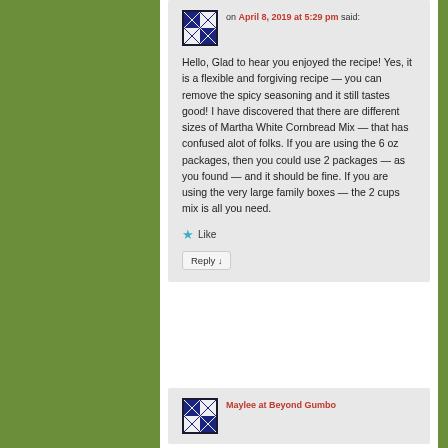on April 8, 2019 at 5:29 pm said:
Hello, Glad to hear you enjoyed the recipe! Yes, it is a flexible and forgiving recipe — you can remove the spicy seasoning and it still tastes good! I have discovered that there are different sizes of Martha White Cornbread Mix — that has confused alot of folks. If you are using the 6 oz packages, then you could use 2 packages — as you found — and it should be fine. If you are using the very large family boxes — the 2 cups mix is all you need.
Like
Reply
Maylee at Beyond Gumbo